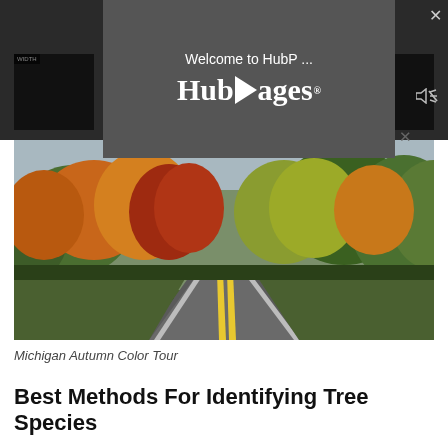[Figure (screenshot): Screenshot of a HubPages video popup overlay showing the HubPages logo with play button, on a dark background with close (X) button and mute icon. Behind it are dark thumbnail images.]
[Figure (photo): Michigan Autumn Color Tour: A winding two-lane road lined with fall-colored trees in orange, red, yellow, and green foliage.]
Michigan Autumn Color Tour
Best Methods For Identifying Tree Species